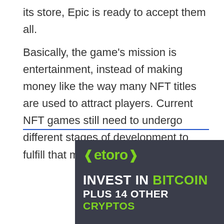its store, Epic is ready to accept them all.
Basically, the game's mission is entertainment, instead of making money like the way many NFT titles are used to attract players. Current NFT games still need to undergo different stages of development to fulfill that mission.
[Figure (infographic): eToro advertisement banner with dark background. Shows the eToro logo in green, followed by text 'INVEST IN BITCOIN PLUS 14 OTHER CRYPTOS' in white and green on a dark gray background.]